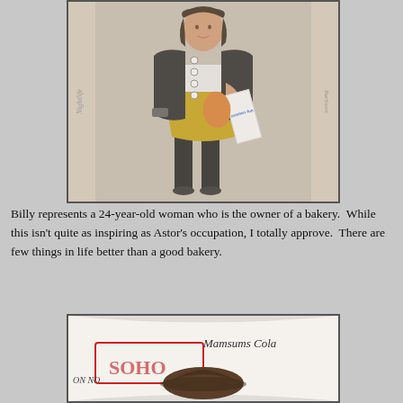[Figure (photo): A fashion doll wearing a black jacket with white buttons, a yellow dress, and black leggings, holding a white package, displayed in a box with text including 'Nightlife' and 'Barbizon'.]
Billy represents a 24-year-old woman who is the owner of a bakery.  While this isn't quite as inspiring as Astor's occupation, I totally approve.  There are few things in life better than a good bakery.
[Figure (photo): Partial view of a doll or figure wearing a brown hat, in front of a curved backdrop with text including 'SOHO', 'Mamsums Cola', and 'ON NO'.]